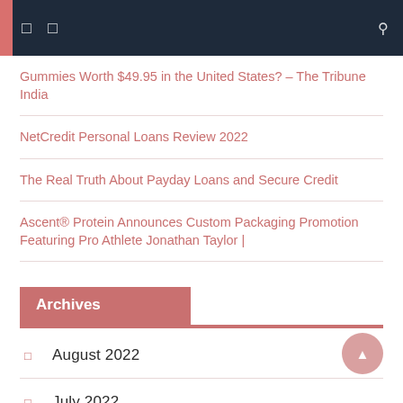Navigation bar with menu icons and search
Gummies Worth $49.95 in the United States? – The Tribune India
NetCredit Personal Loans Review 2022
The Real Truth About Payday Loans and Secure Credit
Ascent® Protein Announces Custom Packaging Promotion Featuring Pro Athlete Jonathan Taylor |
Archives
August 2022
July 2022
June 2022
May 2022